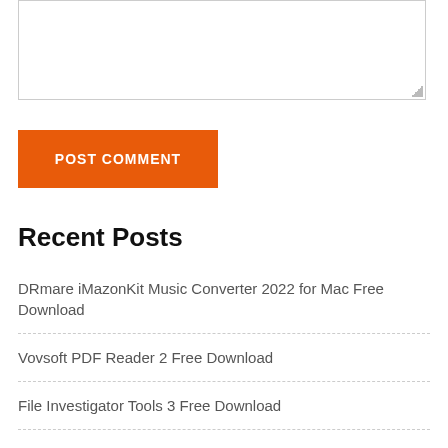[Figure (screenshot): Empty textarea input box with resize handle at bottom right]
POST COMMENT
Recent Posts
DRmare iMazonKit Music Converter 2022 for Mac Free Download
Vovsoft PDF Reader 2 Free Download
File Investigator Tools 3 Free Download
Diving Log 6 Free Download